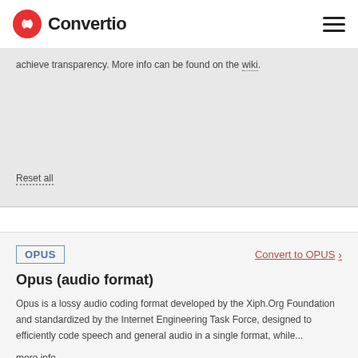Convertio
achieve transparency. More info can be found on the wiki.
Reset all
OPUS
Convert to OPUS
Opus (audio format)
Opus is a lossy audio coding format developed by the Xiph.Org Foundation and standardized by the Internet Engineering Task Force, designed to efficiently code speech and general audio in a single format, while...
more info